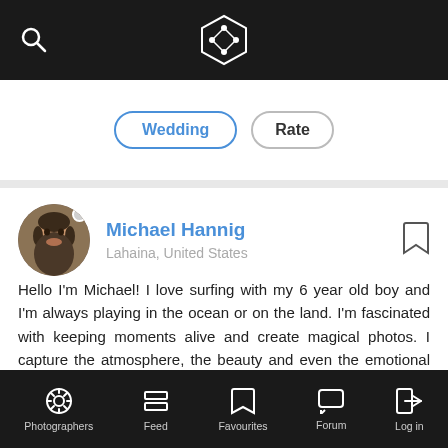Search | App logo header
Wedding | Rate
Michael Hannig
Lahaina, United States
Hello I'm Michael! I love surfing with my 6 year old boy and I'm always playing in the ocean or on the land. I'm fascinated with keeping moments alive and create magical photos. I capture the atmosphere, the beauty and even the emotional revelation in that specific moment.
[Figure (photo): Photo strip showing architectural/urban photography at bottom of profile]
Photographers | Feed | Favourites | Forum | Log in